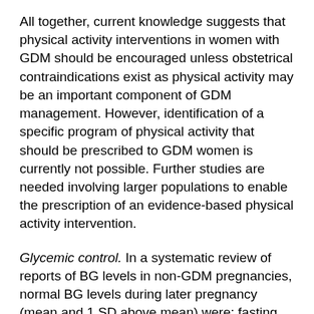All together, current knowledge suggests that physical activity interventions in women with GDM should be encouraged unless obstetrical contraindications exist as physical activity may be an important component of GDM management. However, identification of a specific program of physical activity that should be prescribed to GDM women is currently not possible. Further studies are needed involving larger populations to enable the prescription of an evidence-based physical activity intervention.
Glycemic control. In a systematic review of reports of BG levels in non-GDM pregnancies, normal BG levels during later pregnancy (mean and 1 SD above mean) were: fasting 3.9±0.4 mmol/L, 1 hour postprandial 6.1±0.7 mmol/L and 2 hours postprandial 5.5±0.6 mmol/L with a mean BG of 4.9±0.6 mmol/L (84). The peak postprandial BG occurred at 69±24 minutes (84). However, it should be noted that the mean FBG derived from the total